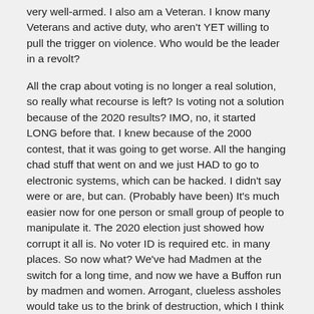very well-armed. I also am a Veteran. I know many Veterans and active duty, who aren't YET willing to pull the trigger on violence. Who would be the leader in a revolt?
All the crap about voting is no longer a real solution, so really what recourse is left? Is voting not a solution because of the 2020 results? IMO, no, it started LONG before that. I knew because of the 2000 contest, that it was going to get worse. All the hanging chad stuff that went on and we just HAD to go to electronic systems, which can be hacked. I didn't say were or are, but can. (Probably have been) It's much easier now for one person or small group of people to manipulate it. The 2020 election just showed how corrupt it all is. No voter ID is required etc. in many places. So now what? We've had Madmen at the switch for a long time, and now we have a Buffon run by madmen and women. Arrogant, clueless assholes would take us to the brink of destruction, which I think is engineered.
Back to the veteran thing. I've heard said by more than one idiot that we can't fight the 82 Airborne Division, because we don't have the stuff they do. Well, let's just ask the Taliban about that. Anyhow who's to say anyone in the Active military isn't